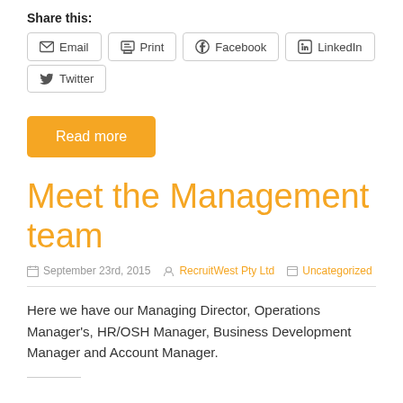Share this:
Email
Print
Facebook
LinkedIn
Twitter
Read more
Meet the Management team
September 23rd, 2015   RecruitWest Pty Ltd   Uncategorized
Here we have our Managing Director, Operations Manager's, HR/OSH Manager, Business Development Manager and Account Manager.